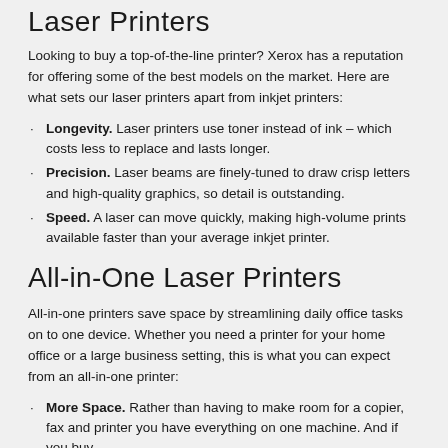Laser Printers
Looking to buy a top-of-the-line printer? Xerox has a reputation for offering some of the best models on the market. Here are what sets our laser printers apart from inkjet printers:
Longevity. Laser printers use toner instead of ink – which costs less to replace and lasts longer.
Precision. Laser beams are finely-tuned to draw crisp letters and high-quality graphics, so detail is outstanding.
Speed. A laser can move quickly, making high-volume prints available faster than your average inkjet printer.
All-in-One Laser Printers
All-in-one printers save space by streamlining daily office tasks on to one device. Whether you need a printer for your home office or a large business setting, this is what you can expect from an all-in-one printer:
More Space. Rather than having to make room for a copier, fax and printer you have everything on one machine. And if you buy